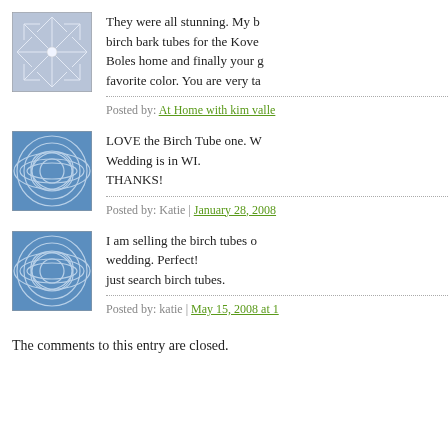[Figure (illustration): Blue geometric snowflake/star avatar image for first commenter]
They were all stunning. My b... birch bark tubes for the Kove... Boles home and finally your g... favorite color. You are very ta...
Posted by: At Home with kim valle...
[Figure (illustration): Blue circular spiral/globe avatar image for second commenter Katie]
LOVE the Birch Tube one. W... Wedding is in WI. THANKS!
Posted by: Katie | January 28, 2008...
[Figure (illustration): Blue circular spiral/globe avatar image for third commenter katie]
I am selling the birch tubes o... wedding. Perfect! just search birch tubes.
Posted by: katie | May 15, 2008 at 1...
The comments to this entry are closed.